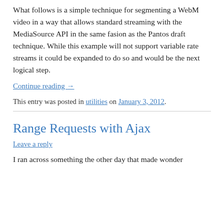What follows is a simple technique for segmenting a WebM video in a way that allows standard streaming with the MediaSource API in the same fasion as the Pantos draft technique. While this example will not support variable rate streams it could be expanded to do so and would be the next logical step.
Continue reading →
This entry was posted in utilities on January 3, 2012.
Range Requests with Ajax
Leave a reply
I ran across something the other day that made wonder